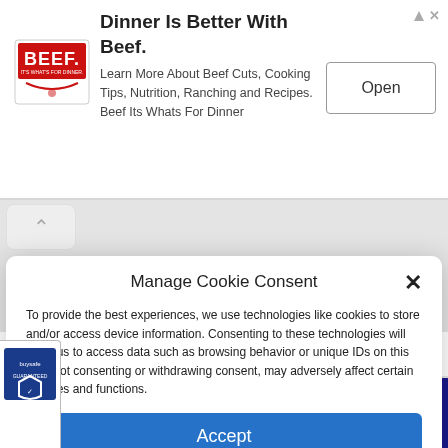[Figure (screenshot): Advertisement banner for Beef. 'Dinner Is Better With Beef.' with Beef logo, description text, and Open button.]
Manage Cookie Consent
To provide the best experiences, we use technologies like cookies to store and/or access device information. Consenting to these technologies will allow us to access data such as browsing behavior or unique IDs on this site. Not consenting or withdrawing consent, may adversely affect certain features and functions.
Accept
Opt-out preferences  Privacy Statement  Imprint
Related products
[Figure (screenshot): Bottom navigation bar with user, search, and cart icons on dark blue background.]